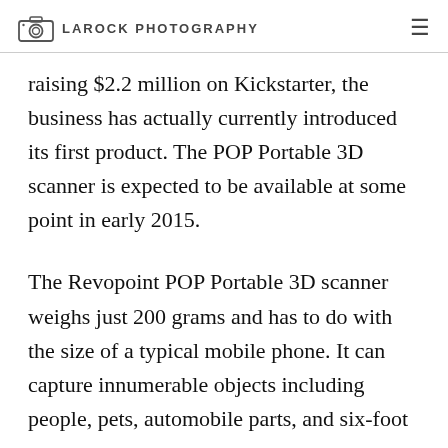LAROCK PHOTOGRAPHY
raising $2.2 million on Kickstarter, the business has actually currently introduced its first product. The POP Portable 3D scanner is expected to be available at some point in early 2015.
The Revopoint POP Portable 3D scanner weighs just 200 grams and has to do with the size of a typical mobile phone. It can capture innumerable objects including people, pets, automobile parts, and six-foot